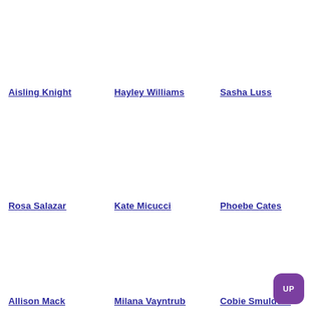Aisling Knight
Hayley Williams
Sasha Luss
Rosa Salazar
Kate Micucci
Phoebe Cates
Allison Mack
Milana Vayntrub
Cobie Smulders